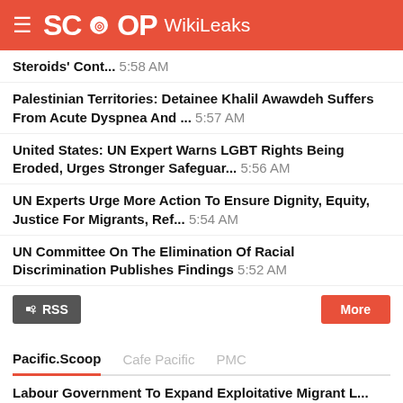SCOOP WikiLeaks
Steroids' Cont... 5:58 AM
Palestinian Territories: Detainee Khalil Awawdeh Suffers From Acute Dyspnea And ... 5:57 AM
United States: UN Expert Warns LGBT Rights Being Eroded, Urges Stronger Safeguar... 5:56 AM
UN Experts Urge More Action To Ensure Dignity, Equity, Justice For Migrants, Ref... 5:54 AM
UN Committee On The Elimination Of Racial Discrimination Publishes Findings 5:52 AM
RSS | More
Pacific.Scoop | Cafe Pacific | PMC
Labour Government To Expand Exploitative Migrant L... 9:48 AM | admin
Māori Film About P Wins Major Award In Puerto Rico 28 Aug | admin
EVT NZ Announces Two Key Sales And Marketing Appoi... 28 Aug | admin
Making Music Together: PESE! FASI! PŪORO! 27 Aug | admin